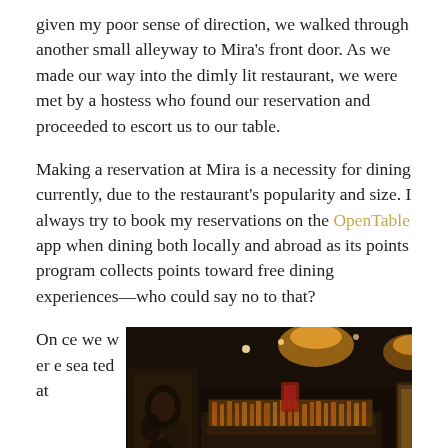given my poor sense of direction, we walked through another small alleyway to Mira's front door. As we made our way into the dimly lit restaurant, we were met by a hostess who found our reservation and proceeded to escort us to our table.
Making a reservation at Mira is a necessity for dining currently, due to the restaurant's popularity and size. I always try to book my reservations on the OpenTable app when dining both locally and abroad as its points program collects points toward free dining experiences—who could say no to that?
Once we were seated at
[Figure (photo): Interior photo of Mira restaurant showing a dimly lit bar area with warm amber lighting, decorative panels, bottles on shelves, overhead pendant lights, and patrons seated at the bar.]